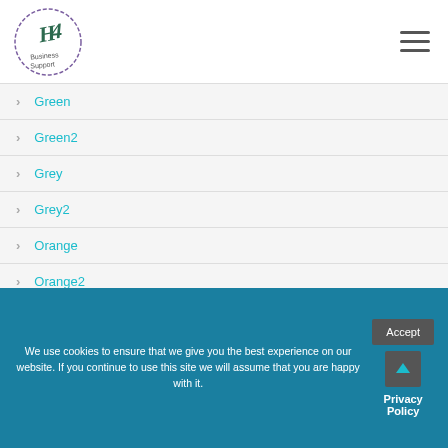H4 Business Support logo and navigation menu
Green
Green2
Grey
Grey2
Orange
Orange2
Purple
Purple2
Red
We use cookies to ensure that we give you the best experience on our website. If you continue to use this site we will assume that you are happy with it.
Accept | Privacy Policy